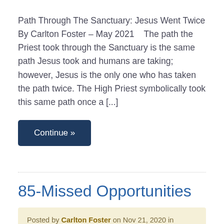Path Through The Sanctuary: Jesus Went Twice By Carlton Foster – May 2021    The path the Priest took through the Sanctuary is the same path Jesus took and humans are taking; however, Jesus is the only one who has taken the path twice. The High Priest symbolically took this same path once a [...]
Continue »
85-Missed Opportunities
Posted by Carlton Foster on Nov 21, 2020 in category: Bible Messages